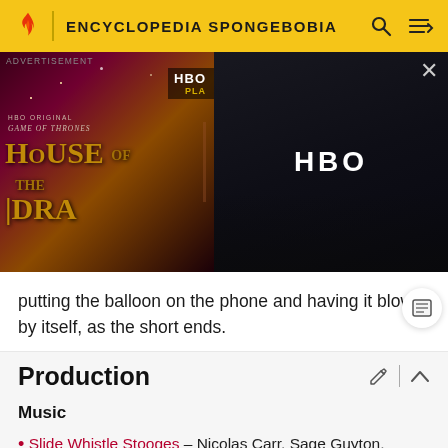ENCYCLOPEDIA SPONGEBOBIA
[Figure (screenshot): Advertisement overlay showing HBO House of the Dragon banner on the left and HBO logo on dark background on the right, with a close button (X)]
putting the balloon on the phone and having it blow by itself, as the short ends.
Production
Music
Slide Whistle Stooges - Nicolas Carr, Sage Guyton, Jeremy Wakefield [SpongeBob blowing up balloons]